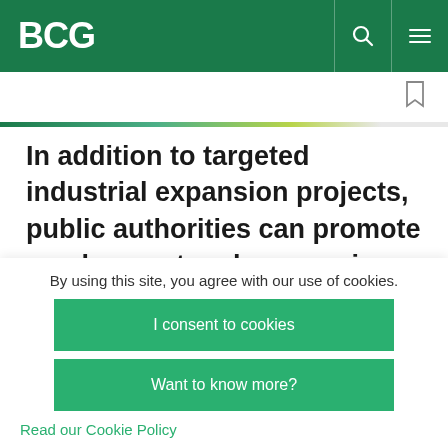BCG
In addition to targeted industrial expansion projects, public authorities can promote employment and economic benefits by creating the right environment to attract light-manufacturing and logistics facilities in and around port areas
By using this site, you agree with our use of cookies.
I consent to cookies
Want to know more?
Read our Cookie Policy